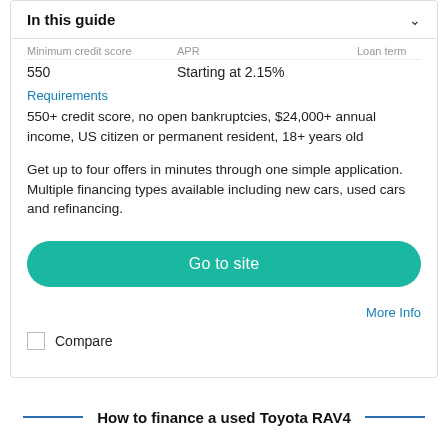In this guide
| Minimum credit score | APR | Loan term |
| --- | --- | --- |
| 550 | Starting at 2.15% |  |
Requirements
550+ credit score, no open bankruptcies, $24,000+ annual income, US citizen or permanent resident, 18+ years old
Get up to four offers in minutes through one simple application. Multiple financing types available including new cars, used cars and refinancing.
Go to site
More Info
Compare
How to finance a used Toyota RAV4